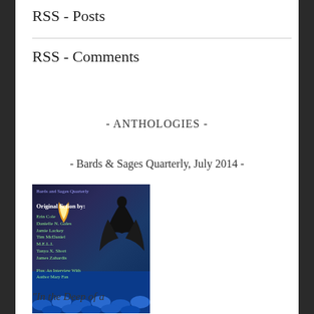RSS - Posts
RSS - Comments
- ANTHOLOGIES -
- Bards & Sages Quarterly, July 2014 -
[Figure (illustration): Book cover of Bards and Sages Quarterly showing dark fantasy artwork with a winged figure over blue waves, with text listing original fiction contributors: Erin Cole, Danielle N. Gales, Jamie Lackey, Tim McDaniel, M.E.L.I., Tanya X. Short, James Zahardis, plus an interview with Author Mary Fan]
"In the Deep of a